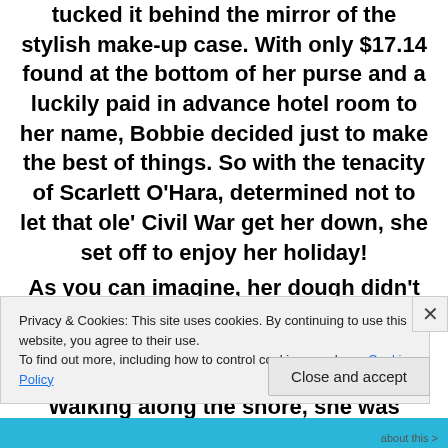tucked it behind the mirror of the stylish make-up case. With only $17.14 found at the bottom of her purse and a luckily paid in advance hotel room to her name, Bobbie decided just to make the best of things. So with the tenacity of Scarlett O'Hara, determined not to let that ole' Civil War get her down, she set off to enjoy her holiday! As you can imagine, her dough didn't last long and with thirteen days to go and her luggage still remaining M.I.A., she took matters into her own hands. Walking along the shore, she was drawn to the
Privacy & Cookies: This site uses cookies. By continuing to use this website, you agree to their use. To find out more, including how to control cookies, see here: Cookie Policy
Close and accept